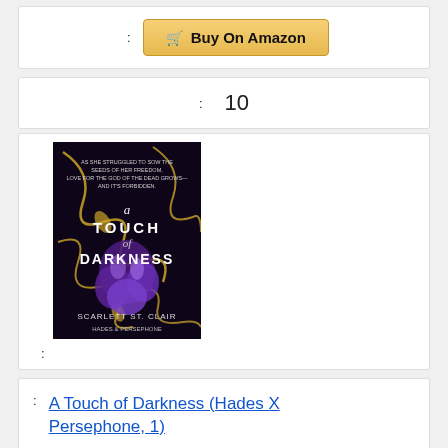: Buy On Amazon
: 10
[Figure (photo): Book cover of 'A Touch of Darkness' by Scarlett St. Clair (Hades X Persephone series), dark background with golden vines and purple flowers]
: (image label/colon)
: A Touch of Darkness (Hades X Persephone, 1)
: $13.08